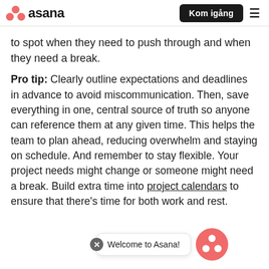Asana — Kom igång
to spot when they need to push through and when they need a break.
Pro tip: Clearly outline expectations and deadlines in advance to avoid miscommunication. Then, save everything in one, central source of truth so anyone can reference them at any given time. This helps the team to plan ahead, reducing overwhelm and staying on schedule. And remember to stay flexible. Your project needs might change or someone might need a break. Build extra time into project calendars to ensure that there's time for both work and rest.
Welcome to Asana!